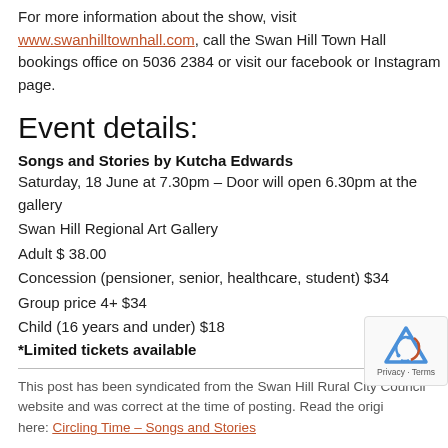For more information about the show, visit www.swanhilltownhall.com, call the Swan Hill Town Hall bookings office on 5036 2384 or visit our facebook or Instagram page.
Event details:
Songs and Stories by Kutcha Edwards
Saturday, 18 June at 7.30pm – Door will open 6.30pm at the gallery
Swan Hill Regional Art Gallery
Adult $ 38.00
Concession (pensioner, senior, healthcare, student) $34
Group price 4+ $34
Child (16 years and under) $18
*Limited tickets available
This post has been syndicated from the Swan Hill Rural City Council website and was correct at the time of posting. Read the original here: Circling Time – Songs and Stories